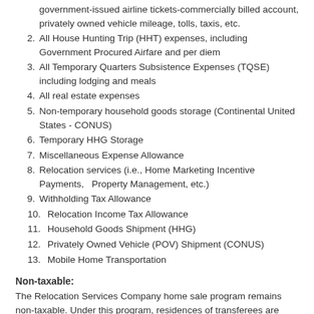government-issued airline tickets-commercially billed account, privately owned vehicle mileage, tolls, taxis, etc.
2. All House Hunting Trip (HHT) expenses, including Government Procured Airfare and per diem
3. All Temporary Quarters Subsistence Expenses (TQSE) including lodging and meals
4. All real estate expenses
5. Non-temporary household goods storage (Continental United States - CONUS)
6. Temporary HHG Storage
7. Miscellaneous Expense Allowance
8. Relocation services (i.e., Home Marketing Incentive Payments,  Property Management, etc.)
9. Withholding Tax Allowance
10.  Relocation Income Tax Allowance
11.  Household Goods Shipment (HHG)
12.  Privately Owned Vehicle (POV) Shipment (CONUS)
13.  Mobile Home Transportation
Non-taxable:
The Relocation Services Company home sale program remains non-taxable. Under this program, residences of transferees are purchased under a RSC supplier contract and then sold in a